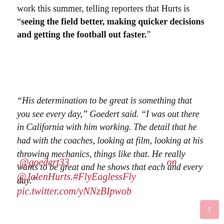work this summer, telling reporters that Hurts is "seeing the field better, making quicker decisions and getting the football out faster."
"His determination to be great is something that you see every day," Goedert said. "I was out there in California with him working. The detail that he had with the coaches, looking at film, looking at his throwing mechanics, things like that. He really wants to be great and he shows that each and every day."
.@goedert33 on @JalenHurts.#FlyEaglessFly pic.twitter.com/yNNzBIpwob